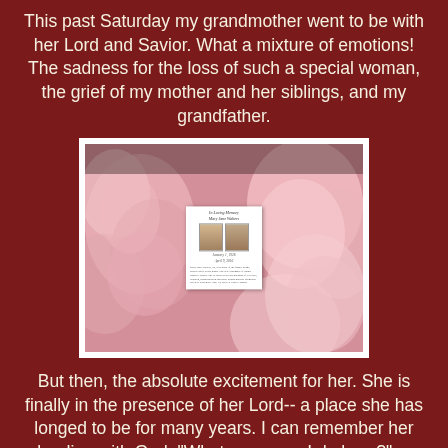This past Saturday my grandmother went to be with her Lord and Savior. What a mixture of emotions! The sadness for the loss of such a special woman, the grief of my mother and her siblings, and my grandfather.
[Figure (photo): A photograph showing pink roses with a memorial/funeral card in the foreground. The card appears to be an obituary card with two portraits and text including dates.]
But then, the absolute excitement for her. She is finally in the presence of her Lord-- a place she has longed to be for many years. I can remember her pleading with God, "What more can I do here?", as she lay in bed, unable to go out or see or clean or care for Grandpa. As long as she was able